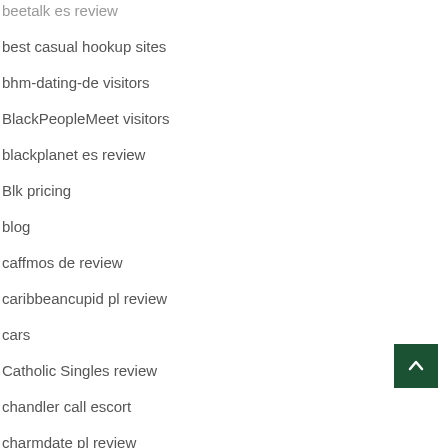beetalk es review
best casual hookup sites
bhm-dating-de visitors
BlackPeopleMeet visitors
blackplanet es review
Blk pricing
blog
caffmos de review
caribbeancupid pl review
cars
Catholic Singles review
chandler call escort
charmdate pl review